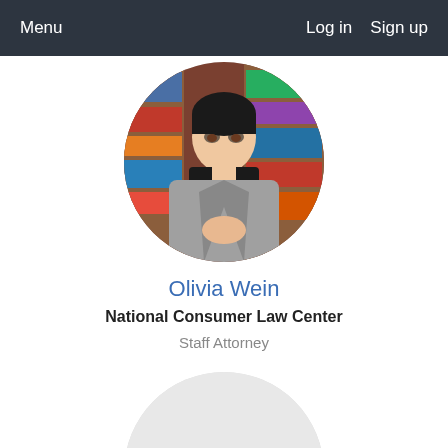Menu   Log in   Sign up
[Figure (photo): Profile photo of Olivia Wein, a woman in a grey blazer and black turtleneck, seated in front of bookshelves, displayed in a circular frame]
Olivia Wein
National Consumer Law Center
Staff Attorney
[Figure (illustration): Circular grey avatar placeholder with initials DZ, partially visible at bottom of page]